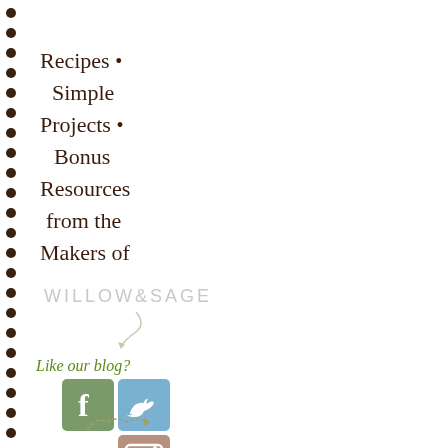Recipes •
Simple
Projects •
Bonus
Resources
from the
Makers of
[Figure (logo): Willow & Sage logo in light gray handwritten style text with a small curly arrow decoration below]
Like our blog?
[Figure (infographic): Three social media icons: Facebook (green background with f), Twitter (blue background with bird), Instagram (pink/brown background with camera). Below the icons is text: Share the Love!]
[Figure (illustration): Small decorative dashed arrow illustration in olive/tan color at bottom left]